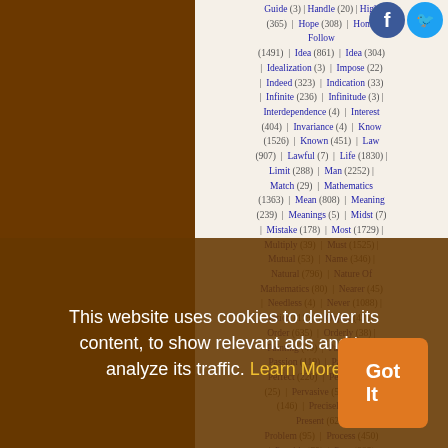Guide (3) | Handle (20) | High (365) | Hope (308) | Human Follow (1491) | Idea (861) | Idea (304) | Idealization (3) | Impose (22) | Indeed (323) | Indication (33) | Infinite (236) | Infinitude (3) | Interdependence (4) | Interest (404) | Invariance (4) | Know (1526) | Known (451) | Law (907) | Lawful (7) | Life (1830) | Limit (288) | Man (2252) | Match (29) | Mathematics (1363) | Mean (808) | Meaning (239) | Meanings (5) | Midst (7) | Mistake (178) | Most (1729) | Multiply (39) | Must (1525) | Mutual (53) | Name (346) | Natural (796) | Nature Of Mathematics (80) | Nearer (45) | Needless (4) | Never (1088) | Notion (118) | Object (430) | Order (635) | Orderly (38) | Painting (46) | Partial (10) | Passion (119) | Past (343) | Perfect (220) | Permanence (25) | Pervasive (5) | Poetry (146) | Precisely (92) | Present (629) | Problem (95) | Process (450) | Provide (75) | Pure (295) | Purity (25) | Realization (43) | Regard (305) | Represent (155) | Restriction
This website uses cookies to deliver its content, to show relevant ads and to analyze its traffic. Learn More